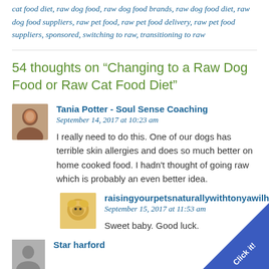cat food diet, raw dog food, raw dog food brands, raw dog food diet, raw dog food suppliers, raw pet food, raw pet food delivery, raw pet food suppliers, sponsored, switching to raw, transitioning to raw
54 thoughts on “Changing to a Raw Dog Food or Raw Cat Food Diet”
Tania Potter - Soul Sense Coaching
September 14, 2017 at 10:23 am
I really need to do this. One of our dogs has terrible skin allergies and does so much better on home cooked food. I hadn't thought of going raw which is probably an even better idea.
raisingyourpetsnaturallywithtonyawilhelm
September 15, 2017 at 11:53 am
Sweet baby. Good luck.
Star harford